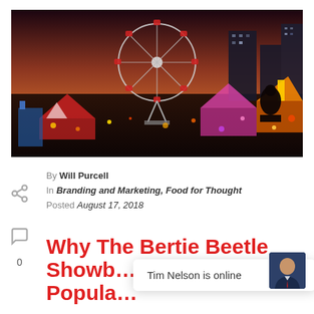[Figure (photo): Aerial night-time view of a fairground or carnival with a large Ferris wheel illuminated against a dusk/sunset sky, surrounded by colourful amusement rides, tents, and city buildings in the background.]
By Will Purcell
In Branding and Marketing, Food for Thought
Posted August 17, 2018
Why The Bertie Beetle Showb… Popula…
Tim Nelson is online